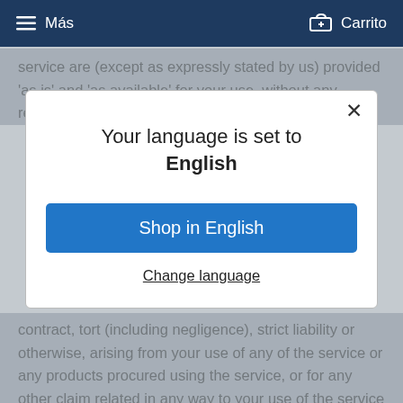≡ Más   🛒 Carrito
service are (except as expressly stated by us) provided 'as is' and 'as available' for your use, without any representation, warranties or conditions of any kind,
Your language is set to English
Shop in English
Change language
contract, tort (including negligence), strict liability or otherwise, arising from your use of any of the service or any products procured using the service, or for any other claim related in any way to your use of the service or any product, including, but not limited to, any errors or